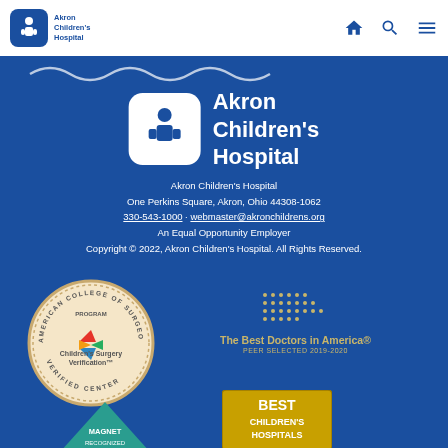Akron Children's Hospital
[Figure (logo): Akron Children's Hospital large centered logo with rounded square icon and white text]
Akron Children's Hospital
One Perkins Square, Akron, Ohio 44308-1062
330-543-1000 · webmaster@akronchildrens.org
An Equal Opportunity Employer
Copyright © 2022, Akron Children's Hospital. All Rights Reserved.
[Figure (logo): American College of Surgeons Quality Improvement Program - Children's Surgery Verification - Verified Center seal]
[Figure (logo): The Best Doctors in America - Peer Selected 2019-2020 badge with gold dot grid]
[Figure (logo): Best Children's Hospitals badge]
[Figure (logo): Magnet Recognized badge]